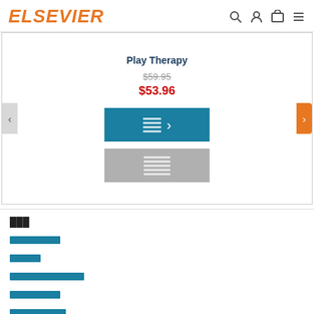ELSEVIER
Play Therapy
$59.95
$53.96
[Figure (screenshot): Add to cart button (teal/blue) with horizontal bars icon and arrow, and an Add to wishlist button (gray) with horizontal bars icon]
███
███████
████
██████████
███████
████████
██████████